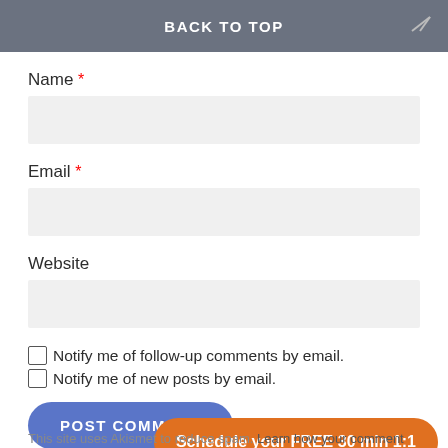BACK TO TOP
Name *
Email *
Website
Notify me of follow-up comments by email.
Notify me of new posts by email.
POST COMMENT
Schedule your FREE 30 min 1:1
This site uses Akismet to reduce spam. Learn how your comment